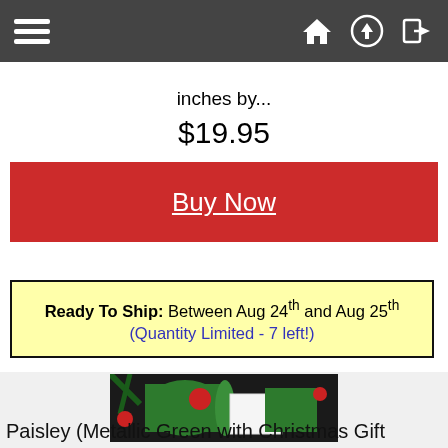Navigation bar with hamburger menu, home, upload, and login icons
inches by...
$19.95
Buy Now
Ready To Ship: Between Aug 24th and Aug 25th (Quantity Limited - 7 left!)
[Figure (photo): Christmas gift wrap product showing green metallic wrapping paper roll with red wax seal and a white/green greeting card with snowflake Christmas tree design, surrounded by pine branches and red ornaments on dark background]
Paisley (Metallic Green with Christmas Gift